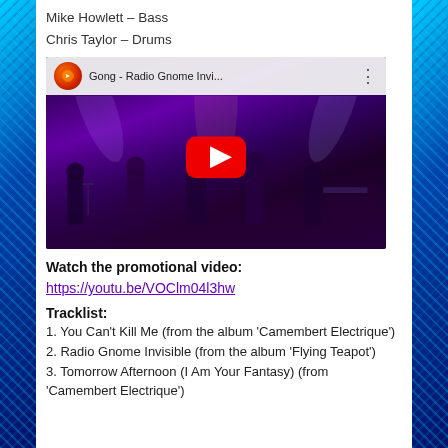Mike Howlett – Bass
Chris Taylor – Drums
[Figure (screenshot): YouTube video thumbnail showing Gong band performing live on stage with title 'Gong - Radio Gnome Invi...' and a red play button overlay]
Watch the promotional video: https://youtu.be/VOClm04l3hw
Tracklist:
1. You Can't Kill Me (from the album 'Camembert Electrique')
2. Radio Gnome Invisible (from the album 'Flying Teapot')
3. Tomorrow Afternoon (I Am Your Fantasy) (from 'Camembert Electrique')